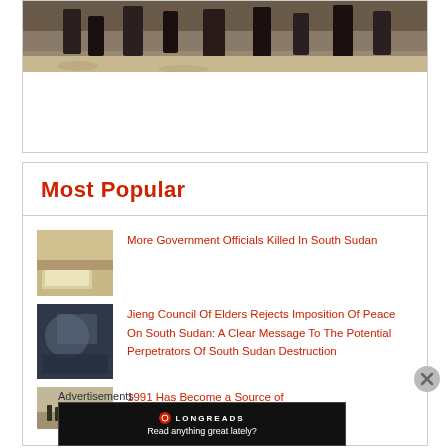[Figure (photo): Partial view of people's feet and legs, likely outdoors on a light surface]
Most Popular
[Figure (photo): Thumbnail image related to South Sudan government officials story]
More Government Officials Killed In South Sudan
[Figure (photo): Thumbnail image related to Jieng Council of Elders story]
Jieng Council Of Elders Rejects Imposition Of Peace On South Sudan: A Clear Message To The Potential Perpetrators Of South Sudan Destruction
[Figure (photo): Thumbnail image related to 1991 story]
1991 Has Become a Source of
Advertisements
[Figure (screenshot): Longreads advertisement banner: Read anything great lately?]